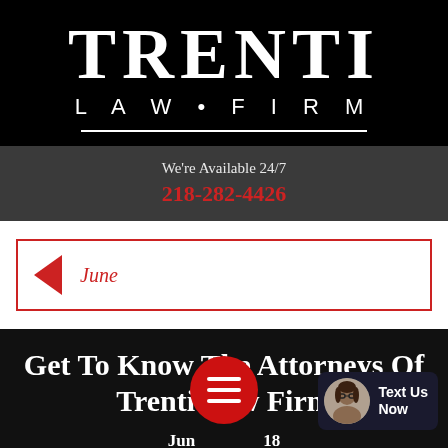[Figure (logo): Trenti Law Firm logo — large white serif TRENTI text with LAW•FIRM below on black background, white horizontal rule underneath]
We're Available 24/7
218-282-4426
< June
Get To Know The Attorneys Of Trenti Law Firm
June [date] 2018
By Trenti Law Firm
[Figure (other): Floating red circular hamburger menu button overlay]
[Figure (other): Text Us Now chat widget with female avatar photo in bottom right corner]